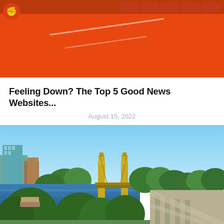[Figure (photo): Top portion of a red/orange themed banner image with dark header bar containing rectangular shapes and diagonal white lines on orange background]
Feeling Down? The Top 5 Good News Websites...
August 15, 2022
[Figure (photo): Aerial cityscape photo of Sacramento, California showing the Tower Bridge over the Sacramento River, surrounded by green trees and urban buildings under a clear blue sky]